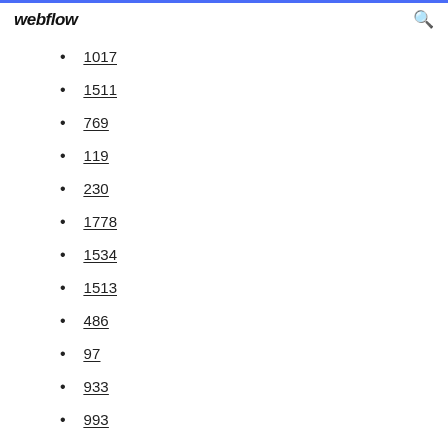webflow
1017
1511
769
119
230
1778
1534
1513
486
97
933
993